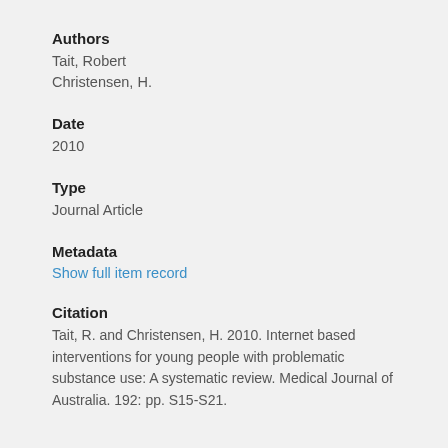Authors
Tait, Robert
Christensen, H.
Date
2010
Type
Journal Article
Metadata
Show full item record
Citation
Tait, R. and Christensen, H. 2010. Internet based interventions for young people with problematic substance use: A systematic review. Medical Journal of Australia. 192: pp. S15-S21.